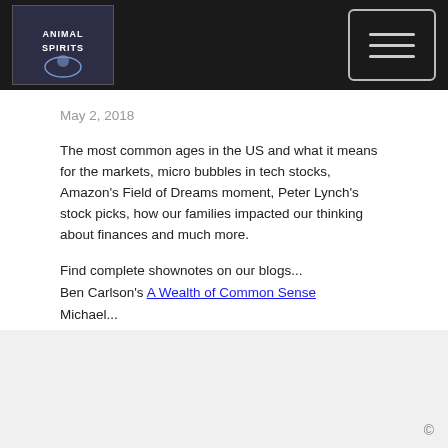[Figure (logo): Animal Spirits podcast logo — dark background with illustrated figure and text 'ANIMAL SPIRITS']
May 2, 2018
The most common ages in the US and what it means for the markets, micro bubbles in tech stocks, Amazon's Field of Dreams moment, Peter Lynch's stock picks, how our families impacted our thinking about finances and much more.
Find complete shownotes on our blogs...
Ben Carlson's A Wealth of Common Sense
Michael...
Read More
©